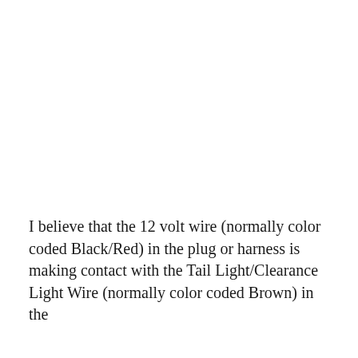I believe that the 12 volt wire (normally color coded Black/Red) in the plug or harness is making contact with the Tail Light/Clearance Light Wire (normally color coded Brown) in the